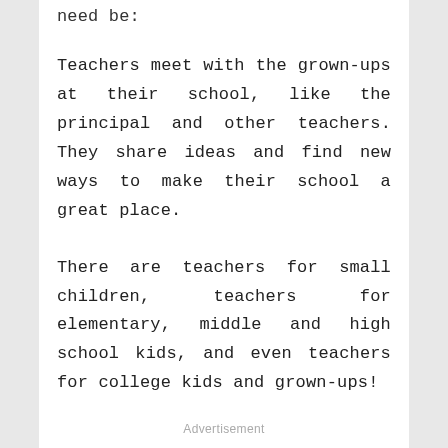need be:
Teachers meet with the grown-ups at their school, like the principal and other teachers. They share ideas and find new ways to make their school a great place.
There are teachers for small children, teachers for elementary, middle and high school kids, and even teachers for college kids and grown-ups!
Advertisement